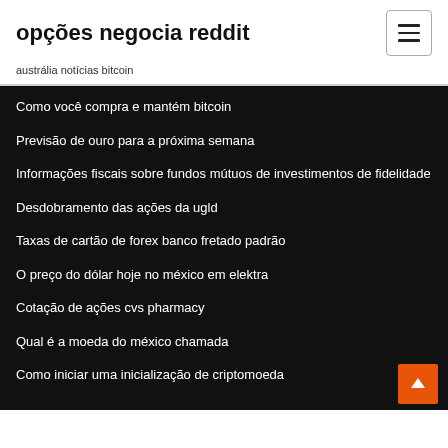opções negocia reddit
austrália notícias bitcoin
Como você compra e mantém bitcoin
Previsão de ouro para a próxima semana
Informações fiscais sobre fundos mútuos de investimentos de fidelidade
Desdobramento das ações da ugld
Taxas de cartão de forex banco fretado padrão
O preço do dólar hoje no méxico em elektra
Cotação de ações cvs pharmacy
Qual é a moeda do méxico chamada
Como iniciar uma inicialização de criptomoeda